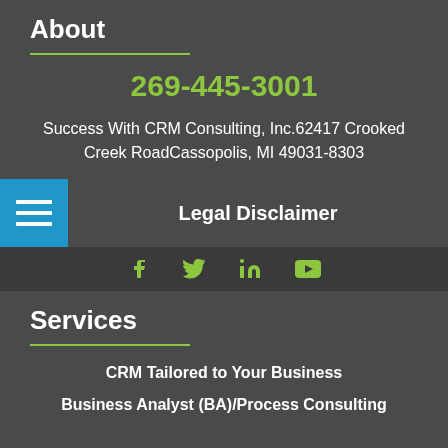About
269-445-3001
Success With CRM Consulting, Inc.62417 Crooked Creek RoadCassopolis, MI 49031-8303
Legal Disclaimer
[Figure (infographic): Social media icons: Facebook, Twitter, LinkedIn, YouTube in olive/green color on dark background]
Services
CRM Tailored to Your Business
Business Analyst (BA)/Process Consulting